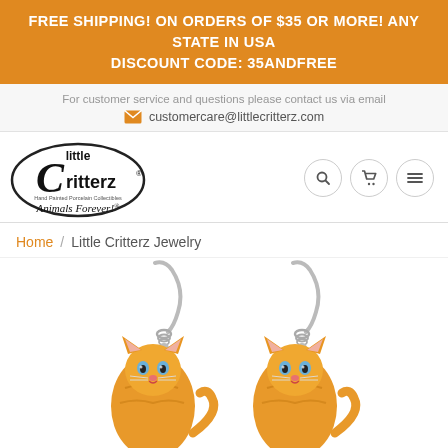FREE SHIPPING! ON ORDERS OF $35 OR MORE! ANY STATE IN USA DISCOUNT CODE: 35ANDFREE
For customer service and questions please contact us via email
customercare@littlecritterz.com
[Figure (logo): Little Critterz logo — Hand Painted Porcelain Collectibles, Animals Forever!]
Navigation icons: search, cart, menu
Home / Little Critterz Jewelry
[Figure (photo): Two orange tabby cat dangle earrings with silver fish-hook wires, hand-painted porcelain cat figurines with blue eyes and raised tails]